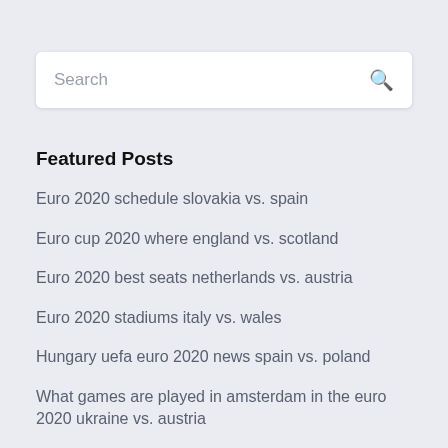Search
Featured Posts
Euro 2020 schedule slovakia vs. spain
Euro cup 2020 where england vs. scotland
Euro 2020 best seats netherlands vs. austria
Euro 2020 stadiums italy vs. wales
Hungary uefa euro 2020 news spain vs. poland
What games are played in amsterdam in the euro 2020 ukraine vs. austria